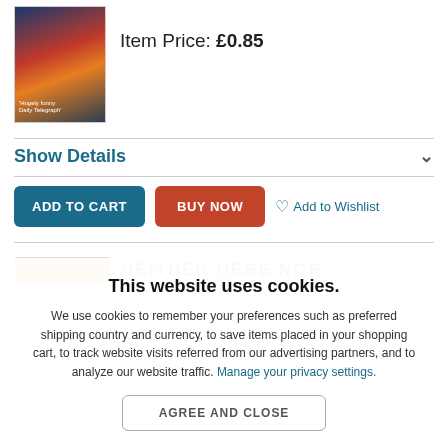[Figure (photo): Book cover thumbnail showing a sailboat on water at sunset with silhouetted figures, orange and red tones.]
Item Price: £0.85
Show Details
ADD TO CART
BUY NOW
Add to Wishlist
This website uses cookies.
We use cookies to remember your preferences such as preferred shipping country and currency, to save items placed in your shopping cart, to track website visits referred from our advertising partners, and to analyze our website traffic. Manage your privacy settings.
AGREE AND CLOSE